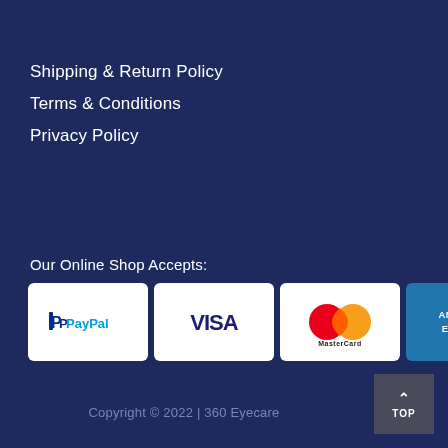Shipping & Return Policy
Terms & Conditions
Privacy Policy
Our Online Shop Accepts:
[Figure (logo): Payment method logos: PayPal, Visa, MasterCard, American Express, Discover Network]
Copyright © 2022 | 360 Eyecare